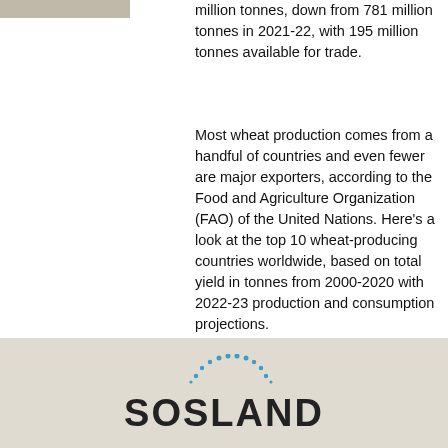[Figure (photo): Partial image visible at top-left corner of the page]
million tonnes, down from 781 million tonnes in 2021-22, with 195 million tonnes available for trade.
Most wheat production comes from a handful of countries and even fewer are major exporters, according to the Food and Agriculture Organization (FAO) of the United Nations. Here's a look at the top 10 wheat-producing countries worldwide, based on total yield in tonnes from 2000-2020 with 2022-23 production and consumption projections.
[Figure (logo): Sosland logo with dotted arc above text, on grey/beige background]